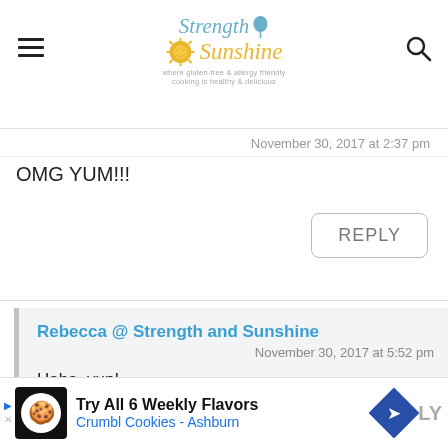Strength & Sunshine
November 30, 2017 at 2:37 pm
OMG YUM!!!
REPLY
Rebecca @ Strength and Sunshine
November 30, 2017 at 5:52 pm
Haha, yup!
[Figure (other): Advertisement for Crumbl Cookies Ashburn: Try All 6 Weekly Flavors]